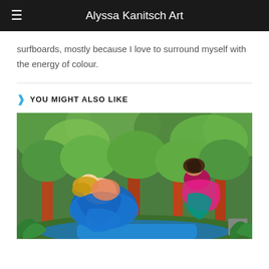Alyssa Kanitsch Art
surfboards, mostly because I love to surround myself with the energy of colour.
YOU MIGHT ALSO LIKE
[Figure (illustration): A colourful painting showing two fairy-tale figures in a lush forest setting. On the left, a woman with long blonde hair sleeps peacefully, wearing a blue dress. On the right, another figure in a red and pink flowing outfit leans over from behind a tree. The background features vibrant green foliage, red-brown tree trunks, and a blue stream or reflective surface at the bottom.]